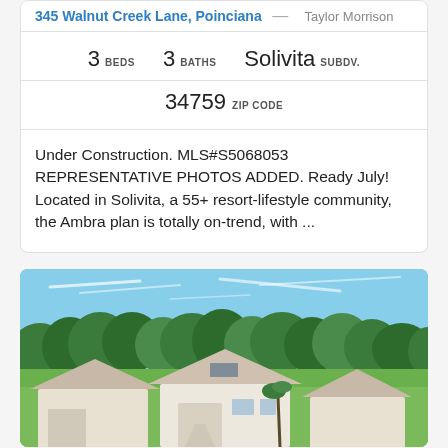345 Walnut Creek Lane, Poinciana — Taylor Morrison
3 BEDS   3 BATHS   Solivita SUBDV.
34759 ZIP CODE
Under Construction. MLS#S5068053 REPRESENTATIVE PHOTOS ADDED. Ready July! Located in Solivita, a 55+ resort-lifestyle community, the Ambra plan is totally on-trend, with ...
[Figure (photo): Aerial/elevated photo of residential homes with white roofs surrounded by green trees and lawn under a blue sky with light clouds]